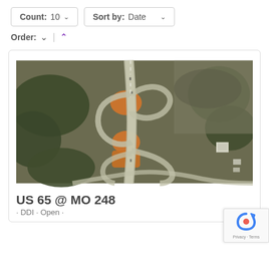Count: 10 ∨   Sort by: Date ∨
Order: ∨ | ∧
[Figure (photo): Aerial satellite view of highway interchange US 65 at MO 248, showing a diverging diamond interchange (DDI) with orange construction areas, surrounded by wooded and rural terrain.]
US 65 @ MO 248
· DDI · Open ·